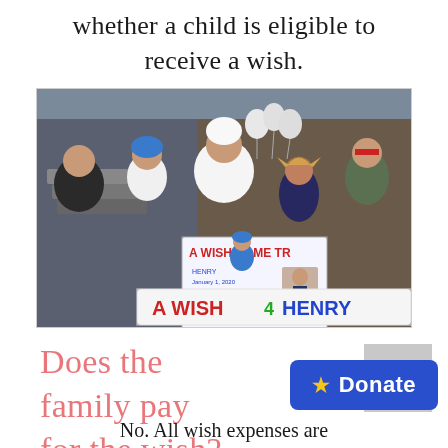whether a child is eligible to receive a wish.
[Figure (photo): Group of people posing outdoors at a Polar Bear Plunge fundraiser event, holding a sign reading 'A WISH COME TRUE' and a banner reading 'A WISH 4 HENRY'. The event is for a wish-granting organization. People are dressed in winter clothes and costumes.]
Does the family pay for the wish?
No. All wish expenses are